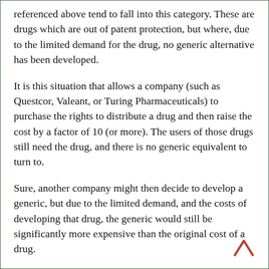referenced above tend to fall into this category. These are drugs which are out of patent protection, but where, due to the limited demand for the drug, no generic alternative has been developed.
It is this situation that allows a company (such as Questcor, Valeant, or Turing Pharmaceuticals) to purchase the rights to distribute a drug and then raise the cost by a factor of 10 (or more). The users of those drugs still need the drug, and there is no generic equivalent to turn to.
Sure, another company might then decide to develop a generic, but due to the limited demand, and the costs of developing that drug, the generic would still be significantly more expensive than the original cost of a drug.
And so, as much as I dislike adding power to a government agency, there needs to be an ability to add checks to the power of the drug companies.
One possibility would be for the FDA to be able to apply a price cap as a prerequisite to receiving FDA approval. I'm